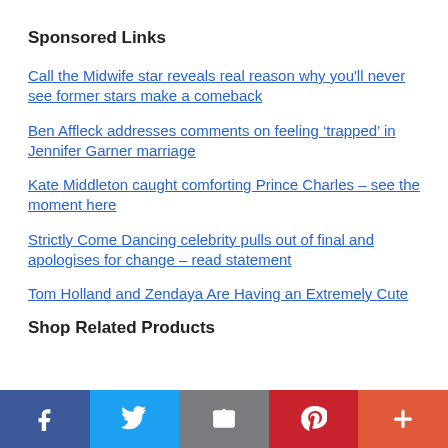Sponsored Links
Call the Midwife star reveals real reason why you'll never see former stars make a comeback
Ben Affleck addresses comments on feeling ‘trapped’ in Jennifer Garner marriage
Kate Middleton caught comforting Prince Charles – see the moment here
Strictly Come Dancing celebrity pulls out of final and apologises for change – read statement
Tom Holland and Zendaya Are Having an Extremely Cute
Shop Related Products
[Figure (infographic): Social sharing bar with Facebook, Twitter, Email, Pinterest, and More (+) buttons]